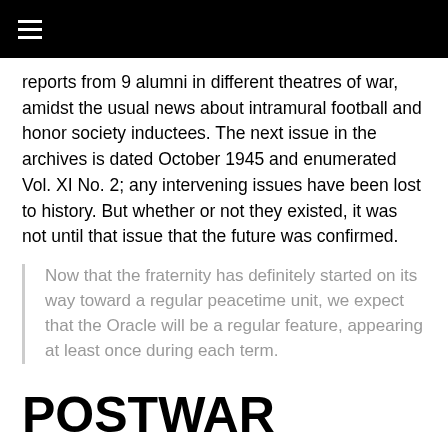≡
reports from 9 alumni in different theatres of war, amidst the usual news about intramural football and honor society inductees. The next issue in the archives is dated October 1945 and enumerated Vol. XI No. 2; any intervening issues have been lost to history. But whether or not they existed, it was not until that issue that the future was confirmed.
Now that the fraternity has definitely started on its way toward a regular peacetime unit, we expect that the Oracle will be a regular feature, appearing at least once during each term.
POSTWAR PUBLICATION
In 1952, the Omicron Alumni Association contracted Stewart Howe Alumni Service, already serving many other